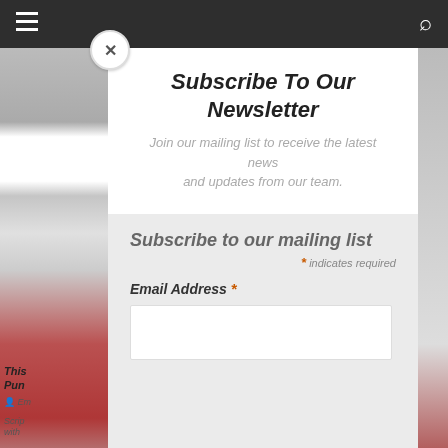Navigation bar with hamburger menu and search icon
Subscribe To Our Newsletter
Join our mailing list to receive the latest news and updates from our team.
Subscribe to our mailing list
* indicates required
Email Address *
This Pun Em Scrip with